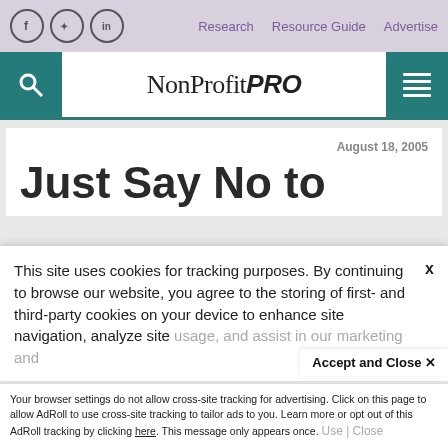Research  Resource Guide  Advertise
[Figure (logo): NonProfit PRO logo with teal search and menu boxes]
August 18, 2005
Just Say No to
This site uses cookies for tracking purposes. By continuing to browse our website, you agree to the storing of first- and third-party cookies on your device to enhance site navigation, analyze site usage, and assist in our marketing and
Accept and Close ✕
Your browser settings do not allow cross-site tracking for advertising. Click on this page to allow AdRoll to use cross-site tracking to tailor ads to you. Learn more or opt out of this AdRoll tracking by clicking here. This message only appears once.